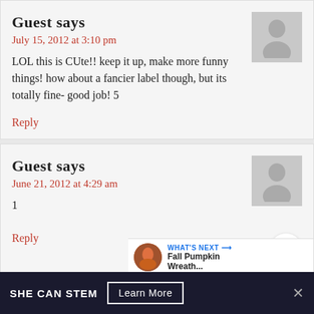Guest says
July 15, 2012 at 3:10 pm
LOL this is CUte!! keep it up, make more funny things! how about a fancier label though, but its totally fine- good job! 5
Reply
Guest says
June 21, 2012 at 4:29 am
1
Reply
Guest says
June 17, 2012 at 5:30 pm
SHE CAN STEM
Learn More
WHAT'S NEXT → Fall Pumpkin Wreath...